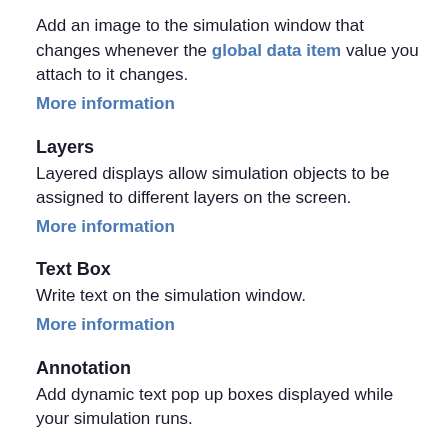Add an image to the simulation window that changes whenever the global data item value you attach to it changes.
More information
Layers
Layered displays allow simulation objects to be assigned to different layers on the screen.
More information
Text Box
Write text on the simulation window.
More information
Annotation
Add dynamic text pop up boxes displayed while your simulation runs.
Charts